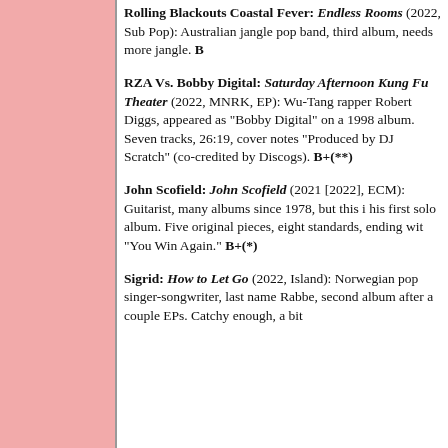Rolling Blackouts Coastal Fever: Endless Rooms (2022, Sub Pop): Australian jangle pop band, third album, needs more jangle. B
RZA Vs. Bobby Digital: Saturday Afternoon Kung Fu Theater (2022, MNRK, EP): Wu-Tang rapper Robert Diggs, appeared as "Bobby Digital" on a 1998 album. Seven tracks, 26:19, cover notes "Produced by DJ Scratch" (co-credited by Discogs). B+(**)
John Scofield: John Scofield (2021 [2022], ECM): Guitarist, many albums since 1978, but this is his first solo album. Five original pieces, eight standards, ending with "You Win Again." B+(*)
Sigrid: How to Let Go (2022, Island): Norwegian pop singer-songwriter, last name Rabbe, second album after a couple EPs. Catchy enough, a bit...